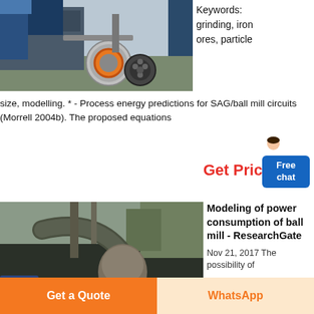[Figure (photo): Industrial grinding mill machinery photographed outdoors, showing circular mechanical parts and industrial equipment]
Keywords: grinding, iron ores, particle size, modelling. * - Process energy predictions for SAG/ball mill circuits (Morrell 2004b). The proposed equations
Get Price
[Figure (illustration): Small illustrated figure of a person/assistant]
[Figure (photo): Industrial ball mill equipment photographed at a plant, showing large cylindrical machinery, pipes, and conveyors]
Modeling of power consumption of ball mill - ResearchGate
Nov 21, 2017 The possibility of
Free chat
Get a Quote
WhatsApp